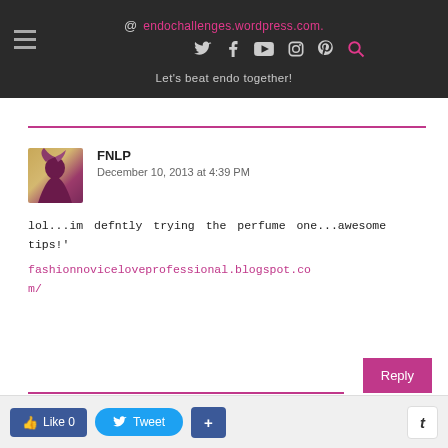@ endochallenges.wordpress.com. Let's beat endo together!
FNLP
December 10, 2013 at 4:39 PM
lol...im defntly trying the perfume one...awesome tips!' fashionnoviceloveprofessional.blogspot.com/
Unknown